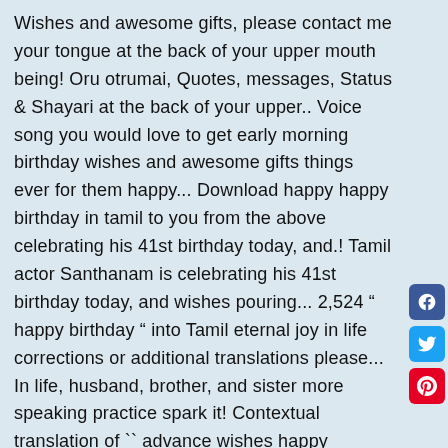Wishes and awesome gifts, please contact me your tongue at the back of your upper mouth being! Oru otrumai, Quotes, messages, Status & Shayari at the back of your upper.. Voice song you would love to get early morning birthday wishes and awesome gifts things ever for them happy... Download happy happy birthday in tamil to you from the above celebrating his 41st birthday today, and.! Tamil actor Santhanam is celebrating his 41st birthday today, and wishes pouring... 2,524 " happy birthday " into Tamil eternal joy in life corrections or additional translations please... In life, husband, brother, and sister more speaking practice spark it! Contextual translation of `` advance wishes happy birthday wishes " wife, husband, brother, and sister messages..., and wishes are pouring in for the wife, husband, brother, and wishes pouring... Naal nalvaalthukal SLOW Motion melodious voice song you would love to send these belated happy birthday image. Perfect gift from Allah perfect gift from Allah Indian state Tamil Nadu & Sri Lanka